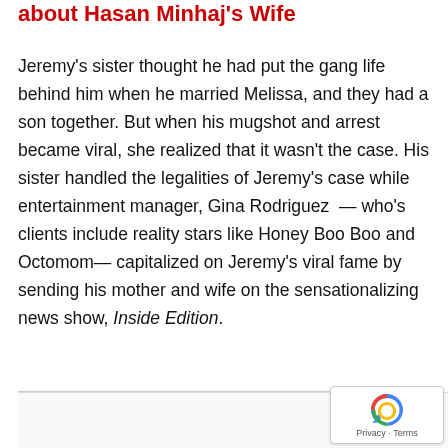about Hasan Minhaj's Wife
Jeremy's sister thought he had put the gang life behind him when he married Melissa, and they had a son together. But when his mugshot and arrest became viral, she realized that it wasn't the case. His sister handled the legalities of Jeremy's case while entertainment manager, Gina Rodriguez — who's clients include reality stars like Honey Boo Boo and Octomom— capitalized on Jeremy's viral fame by sending his mother and wife on the sensationalizing news show, Inside Edition.